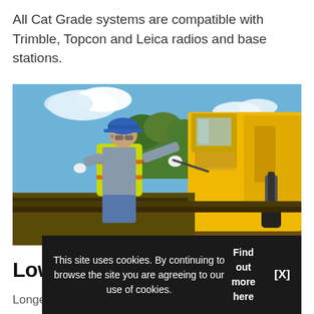All Cat Grade systems are compatible with Trimble, Topcon and Leica radios and base stations.
[Figure (photo): A construction worker wearing a blue hard hat, safety glasses, and a yellow high-visibility vest operates or inspects a large yellow Cat (Caterpillar) grading machine. He is leaning over the machine with white gloves on. Blue sky and green trees are visible in the background.]
Lower
Longer s
This site uses cookies. By continuing to browse the site you are agreeing to our use of cookies. Find out more here   [X]